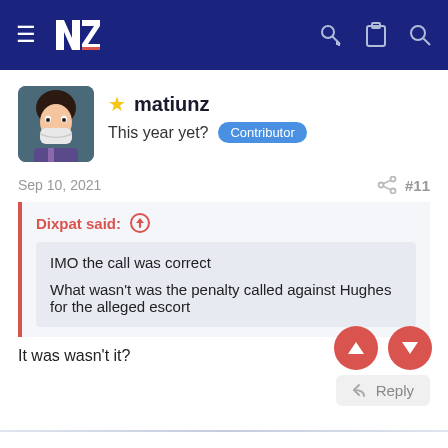NZ forum header with navigation icons
matiunz
This year yet? Contributor
Sep 10, 2021  #11
Dixpat said: ↑
IMO the call was correct
What wasn't was the penalty called against Hughes for the alleged escort
It was wasn't it?